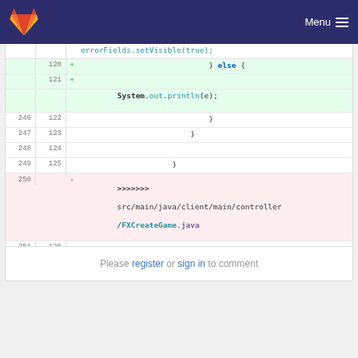GitLab navigation bar with Menu button
[Figure (screenshot): Code diff view showing Java source file changes with line numbers, added lines (green), deleted lines (red), and normal context lines]
Please register or sign in to comment